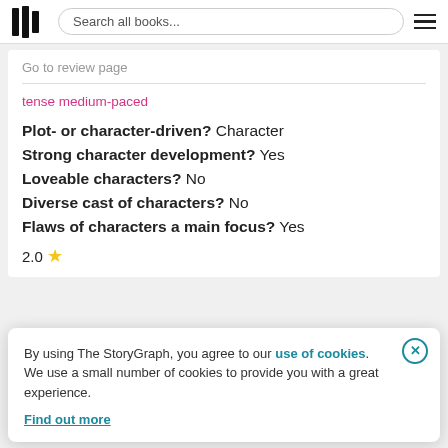Search all books...
Go to review page
tense medium-paced
Plot- or character-driven? Character
Strong character development? Yes
Loveable characters? No
Diverse cast of characters? No
Flaws of characters a main focus? Yes
2.0 ★
By using The StoryGraph, you agree to our use of cookies. We use a small number of cookies to provide you with a great experience.
Find out more